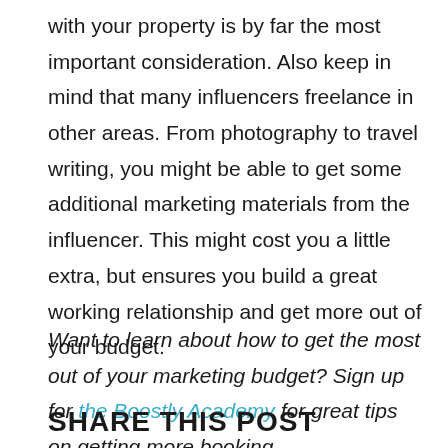with your property is by far the most important consideration. Also keep in mind that many influencers freelance in other areas. From photography to travel writing, you might be able to get some additional marketing materials from the influencer. This might cost you a little extra, but ensures you build a great working relationship and get more out of your budget.
Want to learn about how to get the most out of your marketing budget? Sign up for the Boostly Academy for great tips on getting more booking.
SHARE THIS POST